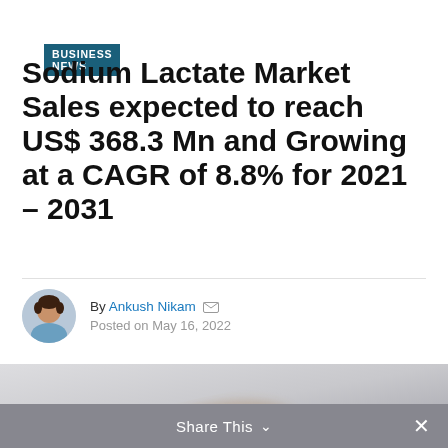BUSINESS NEWS
Sodium Lactate Market Sales expected to reach US$ 368.3 Mn and Growing at a CAGR of 8.8% for 2021 – 2031
By Ankush Nikam  Posted on May 16, 2022
[Figure (photo): Blurred background photo with light grey and white tones, partially visible object in lower portion]
Share This